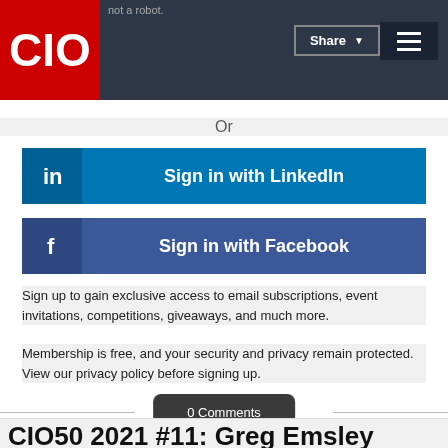CIO | Share | Menu
Or
[Figure (other): Sign in with LinkedIn button - blue button with LinkedIn 'in' icon on left and text 'Sign in with LinkedIn']
[Figure (other): Sign in with Facebook button - dark blue button with Facebook 'f' icon on left and text 'Sign in with Facebook']
Sign up to gain exclusive access to email subscriptions, event invitations, competitions, giveaways, and much more.
Membership is free, and your security and privacy remain protected. View our privacy policy before signing up.
0 Comments
CIO50 2021 #11: Greg Emsley